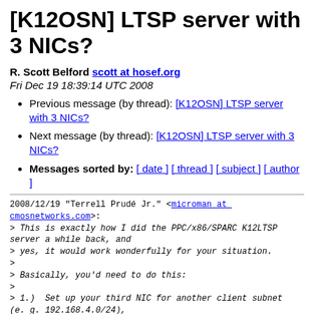[K12OSN] LTSP server with 3 NICs?
R. Scott Belford scott at hosef.org
Fri Dec 19 18:39:14 UTC 2008
Previous message (by thread): [K12OSN] LTSP server with 3 NICs?
Next message (by thread): [K12OSN] LTSP server with 3 NICs?
Messages sorted by: [ date ] [ thread ] [ subject ] [ author ]
2008/12/19 "Terrell Prudé Jr." <microman at cmosnetworks.com>:
> This is exactly how I did the PPC/x86/SPARC K12LTSP server a while back, and
> yes, it would work wonderfully for your situation.
>
> Basically, you'd need to do this:
>
> 1.)  Set up your third NIC for another client subnet (e. g. 192.168.4.0/24),
> and hook 'er up to that switch.
>